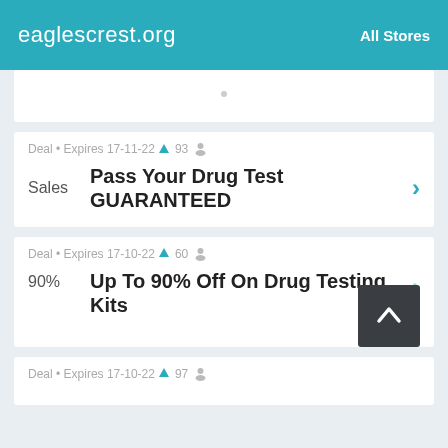eaglescrest.org  All Stores
Deal • Expires 17-11-22 🔔 93 👤
Sales  Pass Your Drug Test GUARANTEED
Deal • Expires 17-10-22 🔔 60 👤
90%  Up To 90% Off On Drug Testing Kits
Deal • Expires 17-10-22 🔔 97 👤